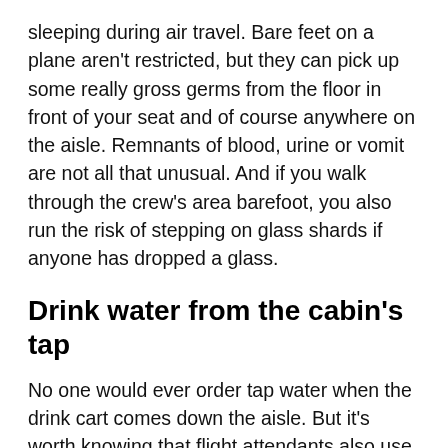sleeping during air travel. Bare feet on a plane aren't restricted, but they can pick up some really gross germs from the floor in front of your seat and of course anywhere on the aisle. Remnants of blood, urine or vomit are not all that unusual. And if you walk through the crew's area barefoot, you also run the risk of stepping on glass shards if anyone has dropped a glass.
Drink water from the cabin's tap
No one would ever order tap water when the drink cart comes down the aisle. But it's worth knowing that flight attendants also use the often-poor quality tap water on board to make coffee, tea, and ice, so you should avoid all of the above